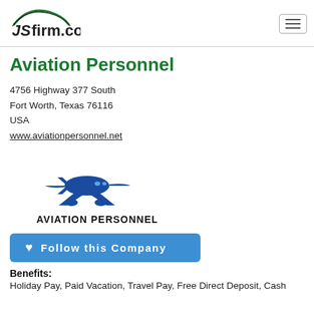JSfirm.com
Aviation Personnel
4756 Highway 377 South
Fort Worth, Texas 76116
USA
www.aviationpersonnel.net
[Figure (logo): Aviation Personnel logo: blue airplane icon with text AVIATION PERSONNEL below]
Follow this Company
Benefits:
Holiday Pay, Paid Vacation, Travel Pay, Free Direct Deposit, Cash